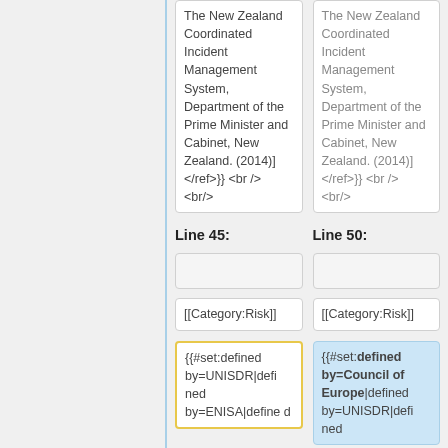| Left column | Right column |
| --- | --- |
| The New Zealand Coordinated Incident Management System, Department of the Prime Minister and Cabinet, New Zealand. (2014)] </ref>}} <br /> <br/> | The New Zealand Coordinated Incident Management System, Department of the Prime Minister and Cabinet, New Zealand. (2014)] </ref>}} <br /> <br/> |
| Line 45: | Line 50: |
|  |  |
| [[Category:Risk]] | [[Category:Risk]] |
| {{#set:defined by=UNISDR|defined by=ENISA|define d | {{#set:defined by=Council of Europe|defined by=UNISDR|defi ned |